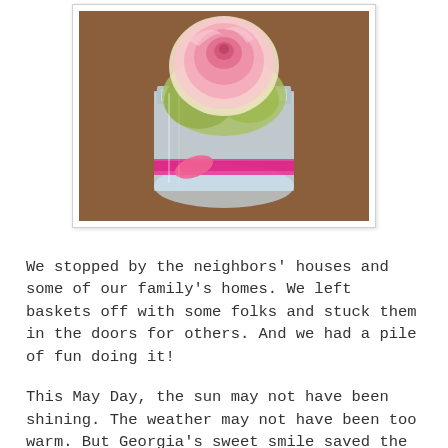[Figure (photo): A close-up overhead photo of pink roses arranged in a mason jar with a pink ribbon tied around it, sitting on a wooden surface.]
We stopped by the neighbors' houses and some of our family's homes. We left baskets off with some folks and stuck them in the doors for others. And we had a pile of fun doing it!
This May Day, the sun may not have been shining. The weather may not have been too warm. But Georgia's sweet smile saved the day.  (And her dad's too . . . sort of.)